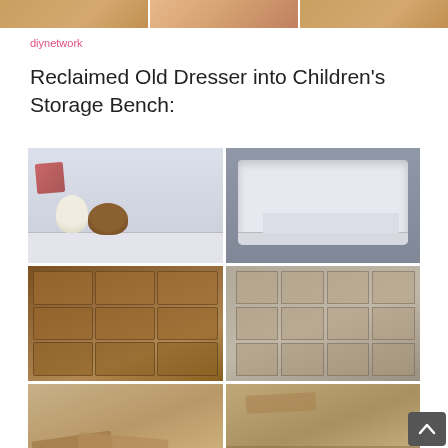[Figure (photo): Three cropped photos showing what appears to be a furry surface or animal fur at the top of the page]
diynetwork
Reclaimed Old Dresser into Children's Storage Bench:
[Figure (photo): Grid of six photos showing the transformation of an old wooden dresser into a white children's storage bench. Top row: finished white bench with stuffed animals, finished white bench from front angle. Middle row: original wooden dresser with brass hardware, dresser with drawers removed showing cubby storage frame. Bottom row: partially constructed bench pieces, another in-progress construction photo.]